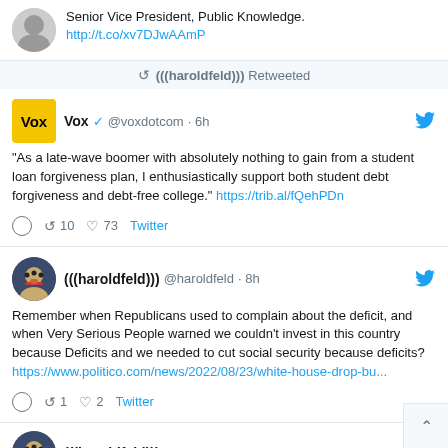Senior Vice President, Public Knowledge. http://t.co/xv7DJwAAmP
↺ (((haroldfeld))) Retweeted
Vox @voxdotcom · 6h
"As a late-wave boomer with absolutely nothing to gain from a student loan forgiveness plan, I enthusiastically support both student debt forgiveness and debt-free college." https://trib.al/fQehPDn
↺ 10  ♡ 73  Twitter
(((haroldfeld))) @haroldfeld · 8h
Remember when Republicans used to complain about the deficit, and when Very Serious People warned we couldn't invest in this country because Deficits and we needed to cut social security because deficits?
https://www.politico.com/news/2022/08/23/white-house-drop-bu...
↺ 1  ♡ 2  Twitter
(((haroldfeld))) @haroldfeld · 16h